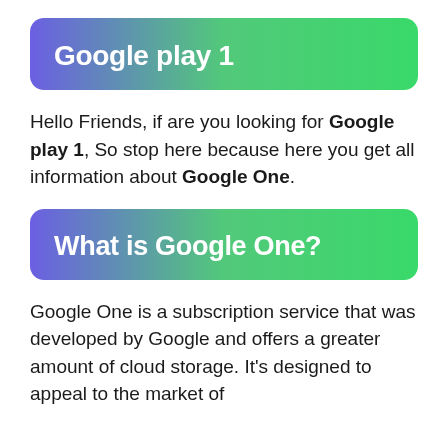Google play 1
Hello Friends, if are you looking for Google play 1, So stop here because here you get all information about Google One.
What is Google One?
Google One is a subscription service that was developed by Google and offers a greater amount of cloud storage. It’s designed to appeal to the market of